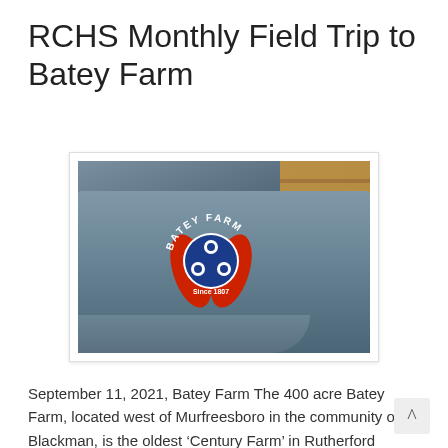RCHS Monthly Field Trip to Batey Farm
[Figure (photo): Close-up photo of a gray baseball cap with a 'Batey Farm' logo patch featuring the Tennessee tri-star symbol and red design elements, resting against a wood background.]
September 11, 2021, Batey Farm The 400 acre Batey Farm, located west of Murfreesboro in the community of Blackman, is the oldest ‘Century Farm’ in Rutherford County having been established in 1807. John L. Batey gave a wonderful tour of the family cemetery, the Batey Farm store, and shared cool,…